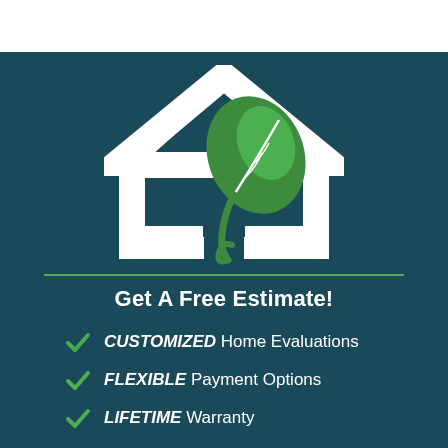[Figure (logo): White house outline silhouette with a green leaf plant growing through it, on a dark teal background]
Get A Free Estimate!
CUSTOMIZED Home Evaluations
FLEXIBLE Payment Options
LIFETIME Warranty